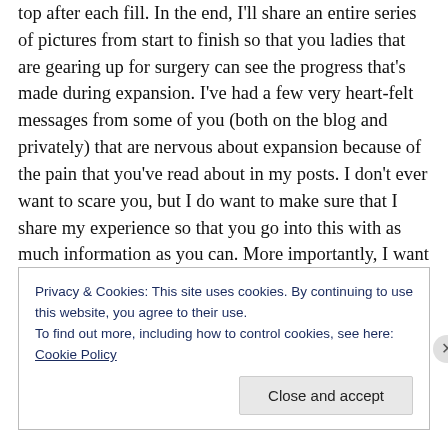top after each fill. In the end, I'll share an entire series of pictures from start to finish so that you ladies that are gearing up for surgery can see the progress that's made during expansion. I've had a few very heart-felt messages from some of you (both on the blog and privately) that are nervous about expansion because of the pain that you've read about in my posts. I don't ever want to scare you, but I do want to make sure that I share my experience so that you go into this with as much information as you can. More importantly, I want you to know that even through the pain, I'm still progressing and happy with the decision I
Privacy & Cookies: This site uses cookies. By continuing to use this website, you agree to their use.
To find out more, including how to control cookies, see here: Cookie Policy
Close and accept